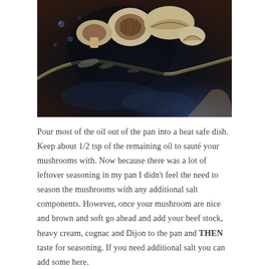[Figure (photo): Close-up photo of sliced mushrooms in a dark cast iron pan with oil residue and seasoning remnants]
Pour most of the oil out of the pan into a heat safe dish. Keep about 1/2 tsp of the remaining oil to sauté your mushrooms with. Now because there was a lot of leftover seasoning in my pan I didn't feel the need to season the mushrooms with any additional salt components. However, once your mushroom are nice and brown and soft go ahead and add your beef stock, heavy cream, cognac and Dijon to the pan and THEN taste for seasoning. If you need additional salt you can add some here.